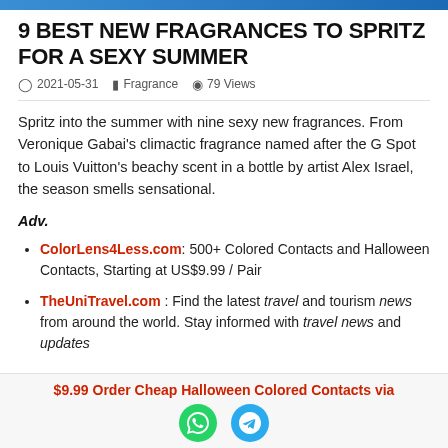[Figure (other): Top banner image strip in blue]
9 BEST NEW FRAGRANCES TO SPRITZ FOR A SEXY SUMMER
2021-05-31   Fragrance   79 Views
Spritz into the summer with nine sexy new fragrances. From Veronique Gabai's climactic fragrance named after the G Spot to Louis Vuitton's beachy scent in a bottle by artist Alex Israel, the season smells sensational.
Adv.
ColorLens4Less.com: 500+ Colored Contacts and Halloween Contacts, Starting at US$9.99 / Pair
TheUniTravel.com : Find the latest travel and tourism news from around the world. Stay informed with travel news and updates
$9.99 Order Cheap Halloween Colored Contacts via